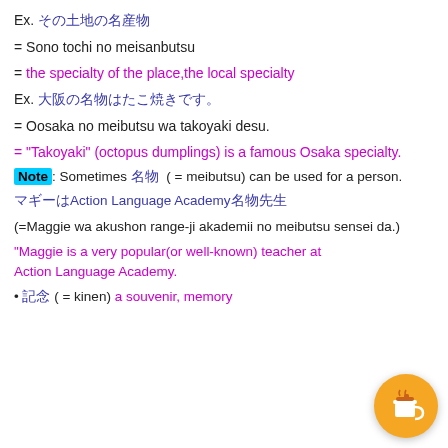Ex. その土地の名産物
= Sono tochi no meisanbutsu
= the specialty of the place,the local specialty
Ex. 大阪の名物はたこ焼きです。
= Oosaka no meibutsu wa takoyaki desu.
= "Takoyaki" (octopus dumplings) is a famous Osaka specialty.
Note: Sometimes 名物 ( = meibutsu) can be used for a person.
マギーAction Language Academy名物先生
(=Maggie wa akushon range-ji akademii no meibutsu sensei da.)
"Maggie is a very popular(or well-known) teacher at Action Language Academy.
• 記念 ( = kinen) a souvenir, memory